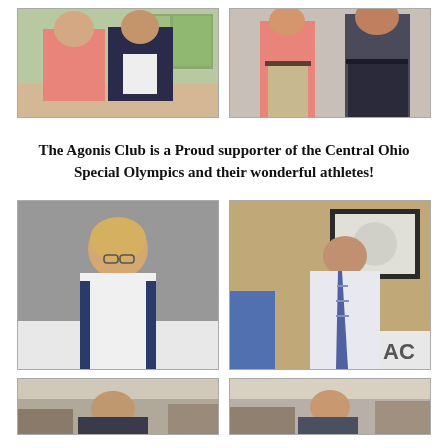[Figure (photo): Two men standing together indoors, one in a pink shirt and the other in a dark blazer]
[Figure (photo): Two men standing together, one in a pink shirt and the other in dark shorts]
The Agonis Club is a Proud supporter of the Central Ohio Special Olympics and their wonderful athletes!
[Figure (photo): A woman with short blonde hair standing at a podium or table, wearing a white polo shirt]
[Figure (photo): A young man in a white shirt and striped tie leaning over, writing or signing something, with another person nearby]
[Figure (photo): A man seated indoors, partially cropped at bottom of page]
[Figure (photo): Another partially cropped photo at bottom of page]